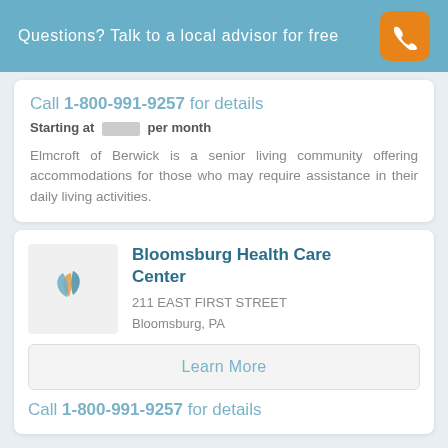Questions? Talk to a local advisor for free
Call 1-800-991-9257 for details
Starting at [redacted] per month
Elmcroft of Berwick is a senior living community offering accommodations for those who may require assistance in their daily living activities.
Bloomsburg Health Care Center
211 EAST FIRST STREET
Bloomsburg, PA
Learn More
Call 1-800-991-9257 for details